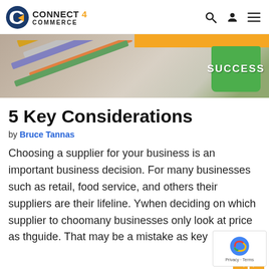CONNECT 4 COMMERCE
[Figure (photo): Hero image showing pencils/stationery on a wooden surface with an orange stripe at top and a green bucket labeled SUCCESS on the right side]
5 Key Considerations
by Bruce Tannas
Choosing a supplier for your business is an important business decision. For many businesses such as retail, food service, and others their suppliers are their lifeline. Y... when deciding on which supplier to choose many businesses only look at price as th... guide. That may be a mistake as key